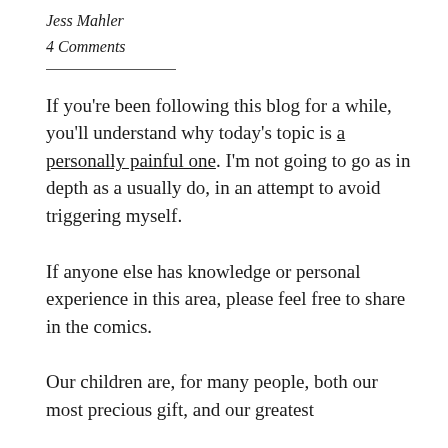Jess Mahler
4 Comments
If you're been following this blog for a while, you'll understand why today's topic is a personally painful one. I'm not going to go as in depth as a usually do, in an attempt to avoid triggering myself.
If anyone else has knowledge or personal experience in this area, please feel free to share in the comics.
Our children are, for many people, both our most precious gift, and our greatest